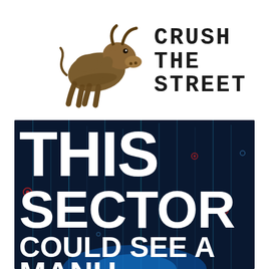[Figure (logo): Crush The Street logo: bronze bull statue on the left, stylized distressed-font text 'CRUSH THE STREET' on the right]
[Figure (illustration): Dark blue banner image with large white bold text reading 'THIS SECTOR COULD SEE A MANU...' (partially cropped at bottom), with a digital/tech background featuring glowing lines and red/blue circles]